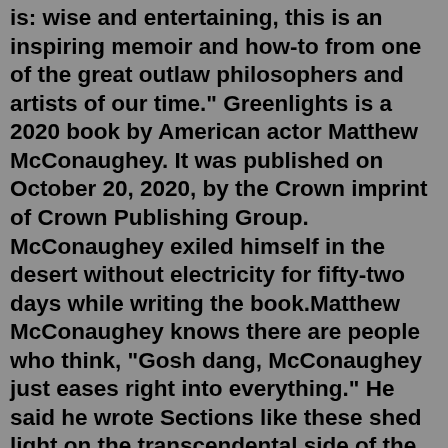is: wise and entertaining, this is an inspiring memoir and how-to from one of the great outlaw philosophers and artists of our time." Greenlights is a 2020 book by American actor Matthew McConaughey. It was published on October 20, 2020, by the Crown imprint of Crown Publishing Group. McConaughey exiled himself in the desert without electricity for fifty-two days while writing the book.Matthew McConaughey knows there are people who think, "Gosh dang, McConaughey just eases right into everything." He said he wrote Sections like these shed light on the transcendental side of the author, who is a practicing Methodist but also describes himself as "an optimistic mystic," forever..."A green light is an affirmation, setting yourself up for success," he says. "A greenlight can be as simple as putting your coffee in the coffee filter By Matthew McConaughey. This is not a traditional memoir. Yes, I tell stories from the past, but I have no interest in nostalgia, sentimentality, or the...Actor, producer, and author Matthew McConaughey takes us on an inspirational journey as